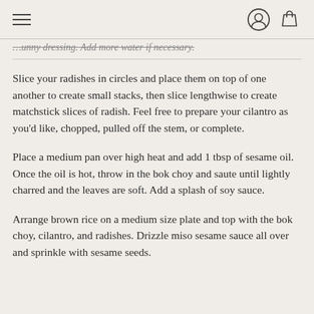≡  [user icon] [bag icon]
…unny dressing. Add more water if necessary.
Slice your radishes in circles and place them on top of one another to create small stacks, then slice lengthwise to create matchstick slices of radish. Feel free to prepare your cilantro as you'd like, chopped, pulled off the stem, or complete.
Place a medium pan over high heat and add 1 tbsp of sesame oil. Once the oil is hot, throw in the bok choy and saute until lightly charred and the leaves are soft. Add a splash of soy sauce.
Arrange brown rice on a medium size plate and top with the bok choy, cilantro, and radishes. Drizzle miso sesame sauce all over and sprinkle with sesame seeds.